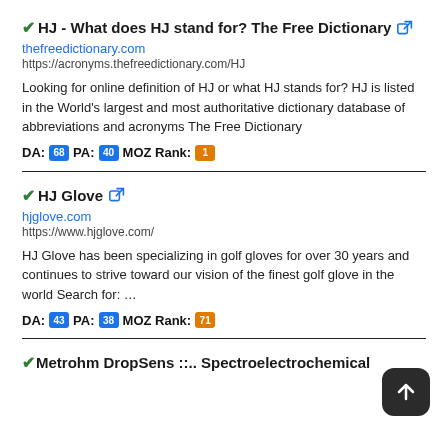✔HJ - What does HJ stand for? The Free Dictionary 🔗
thefreedictionay.com
https://acronyms.thefreedictionary.com/HJ
Looking for online definition of HJ or what HJ stands for? HJ is listed in the World's largest and most authoritative dictionary database of abbreviations and acronyms The Free Dictionary
DA: 68 PA: 40 MOZ Rank: 1
✔HJ Glove 🔗
hjglove.com
https://www.hjglove.com/
HJ Glove has been specializing in golf gloves for over 30 years and continues to strive toward our vision of the finest golf glove in the world Search for: ...
DA: 43 PA: 38 MOZ Rank: 71
✔Metrohm DropSens ::.. Spectroelectrochemical